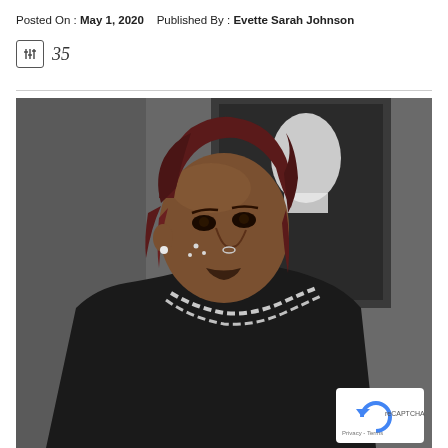Posted On : May 1, 2020    Published By : Evette Sarah Johnson
35
[Figure (photo): Photo of a young man with dark red/maroon dreadlocks, facial piercings including a nose ring and cheek studs, wearing a black hoodie and a large chain necklace. He is standing in front of a dark framed picture/painting on a grey wall. A reCAPTCHA Privacy - Terms badge is visible in the lower right corner.]